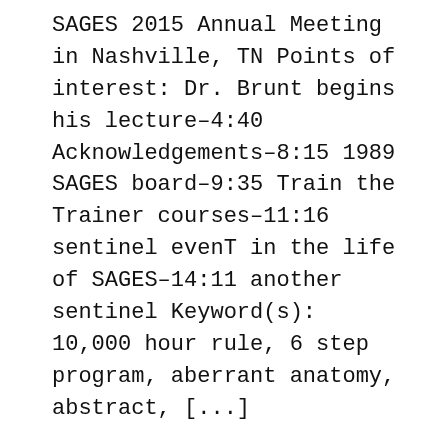SAGES 2015 Annual Meeting in Nashville, TN Points of interest: Dr. Brunt begins his lecture–4:40 Acknowledgements–8:15 1989 SAGES board–9:35 Train the Trainer courses–11:16 sentinel evenT in the life of SAGES–14:11 another sentinel Keyword(s): 10,000 hour rule, 6 step program, aberrant anatomy, abstract, [...]
Posted on
	06/15/2015
Video Categories
	SAGES 2015 Meeting, Solid Organ
Learning Themes